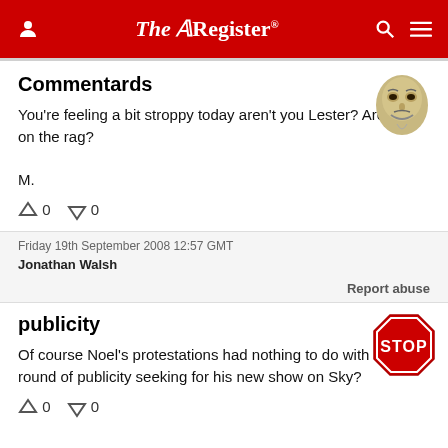The Register
Commentards
You're feeling a bit stroppy today aren't you Lester? Are you on the rag?

M.
↑ 0  ↓ 0
Friday 19th September 2008 12:57 GMT
Jonathan Walsh
Report abuse
publicity
Of course Noel's protestations had nothing to do with his round of publicity seeking for his new show on Sky?
↑ 0  ↓ 0